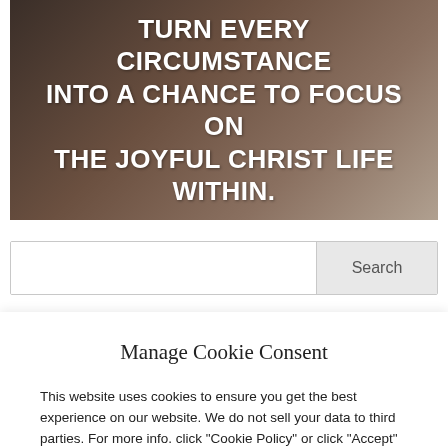[Figure (photo): Dark-toned banner image with bold white text overlay reading: TURN EVERY CIRCUMSTANCE INTO A CHANCE TO FOCUS ON THE JOYFUL CHRIST LIFE WITHIN.]
Search
Manage Cookie Consent
This website uses cookies to ensure you get the best experience on our website. We do not sell your data to third parties. For more info. click "Cookie Policy" or click "Accept" to consent to cookie collection and continue browsing.
Accept